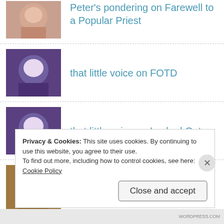Peter's pondering on Farewell to a Popular Priest
that little voice on FOTD
that little voice on Locked Out
Carol on Locked Out
Privacy & Cookies: This site uses cookies. By continuing to use this website, you agree to their use.
To find out more, including how to control cookies, see here: Cookie Policy
Close and accept